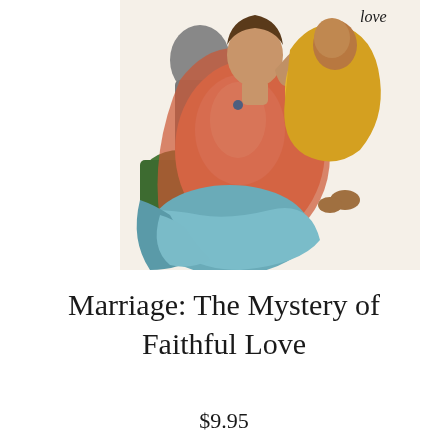[Figure (illustration): A Renaissance-style painting depicting a woman in pink and orange/red robes seated with a child in yellow/gold garments, with another figure in grey in the background. The style is reminiscent of Michelangelo. The word 'love' appears in italic text at the top right of the image.]
Marriage: The Mystery of Faithful Love
$9.95